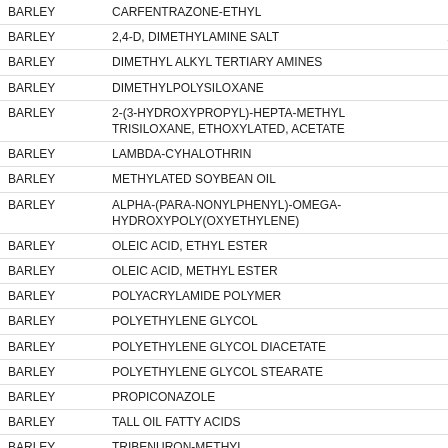| CROP | CHEMICAL | VALUE |
| --- | --- | --- |
| BARLEY | CARFENTRAZONE-ETHYL | 1.97 |
| BARLEY | 2,4-D, DIMETHYLAMINE SALT | 287.76 |
| BARLEY | DIMETHYL ALKYL TERTIARY AMINES | 0.26 |
| BARLEY | DIMETHYLPOLYSILOXANE | 10.87 |
| BARLEY | 2-(3-HYDROXYPROPYL)-HEPTA-METHYL TRISILOXANE, ETHOXYLATED, ACETATE | 8.3 |
| BARLEY | LAMBDA-CYHALOTHRIN | 16.89 |
| BARLEY | METHYLATED SOYBEAN OIL | 42.53 |
| BARLEY | ALPHA-(PARA-NONYLPHENYL)-OMEGA-HYDROXYPOLY(OXYETHYLENE) | 27.61 |
| BARLEY | OLEIC ACID, ETHYL ESTER | 13 |
| BARLEY | OLEIC ACID, METHYL ESTER | 32.76 |
| BARLEY | POLYACRYLAMIDE POLYMER | 0.93 |
| BARLEY | POLYETHYLENE GLYCOL | 5.42 |
| BARLEY | POLYETHYLENE GLYCOL DIACETATE | 0.22 |
| BARLEY | POLYETHYLENE GLYCOL STEARATE | 3.25 |
| BARLEY | PROPICONAZOLE | 60.13 |
| BARLEY | TALL OIL FATTY ACIDS | 5.42 |
| BARLEY | TRIBENURON-METHYL | 0.66 |
| BARLEY | TRIFLOXYSTROBIN | 18.34 |